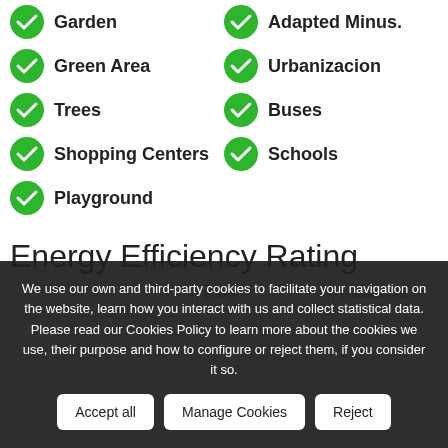Garden
Adapted Minus.
Green Area
Urbanizacion
Trees
Buses
Shopping Centers
Schools
Playground
Energy Efficiency Rating
Energy    Emissions Ko
We use our own and third-party cookies to facilitate your navigation on the website, learn how you interact with us and collect statistical data. Please read our Cookies Policy to learn more about the cookies we use, their purpose and how to configure or reject them, if you consider it so.
Accept all  Manage Cookies  Reject